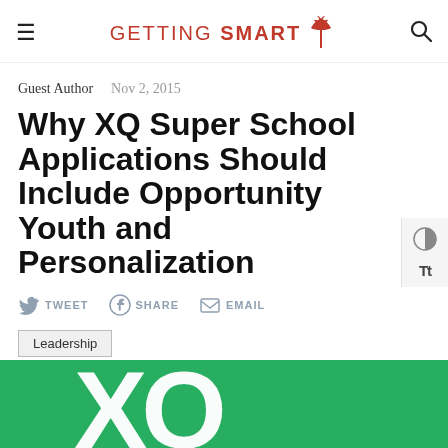GETTING SMART
Guest Author   Nov 2, 2015
Why XQ Super School Applications Should Include Opportunity Youth and Personalization
TWEET   SHARE   EMAIL
Leadership
[Figure (photo): Green background with large white XQ letters, partial view at bottom of page]